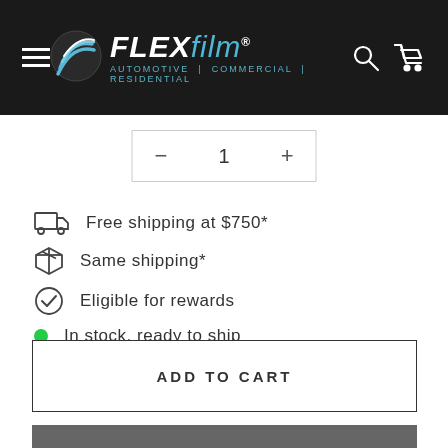FLEXfilm - Automotive | Commercial | Residential
— 1 +
Free shipping at $750*
Same shipping*
Eligible for rewards
In stock, ready to ship
ADD TO CART
BUY IT NOW